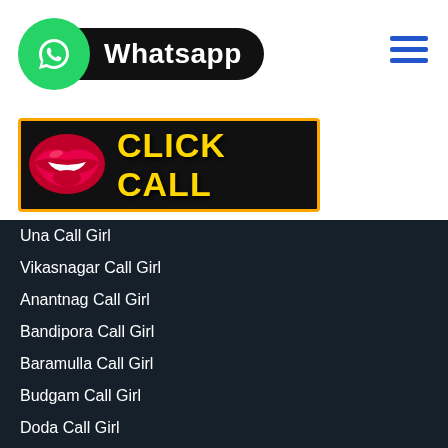[Figure (logo): WhatsApp logo with green circle and white phone icon, next to black pill shape with white bold text 'Whatsapp']
[Figure (illustration): Black banner with orange border, red lips on left, bold yellow text 'CLICK CALL' on right]
[Figure (other): Blue hamburger menu icon (three horizontal lines) in top right]
Una Call Girl
Vikasnagar Call Girl
Anantnag Call Girl
Bandipora Call Girl
Baramulla Call Girl
Budgam Call Girl
Doda Call Girl